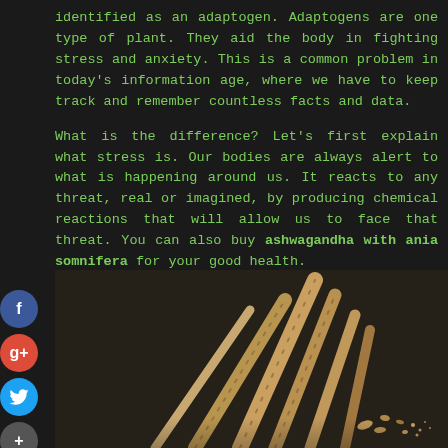identified as an adaptogen. Adaptogens are one type of plant. They aid the body in fighting stress and anxiety. This is a common problem in today's information age, where we have to keep track and remember countless facts and data.

What is the difference? Let's first explain what stress is. Our bodies are always alert to what is happening around us. It reacts to any threat, real or imagined, by producing chemical reactions that will allow us to face that threat. You can also buy ashwagandha with ania somnifera for your good health.
[Figure (photo): Photo of ashwagandha roots (dried woody sticks) arranged on a dark background]